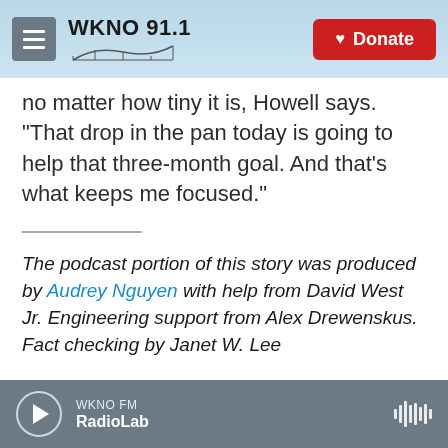WKNO 91.1 | Donate
no matter how tiny it is, Howell says. "That drop in the pan today is going to help that three-month goal. And that's what keeps me focused."
The podcast portion of this story was produced by Audrey Nguyen with help from David West Jr. Engineering support from Alex Drewenskus. Fact checking by Janet W. Lee
We'd love to hear from you. If you have a good life hack, leave us a voicemail at 202-216-9823, or
WKNO FM | RadioLab